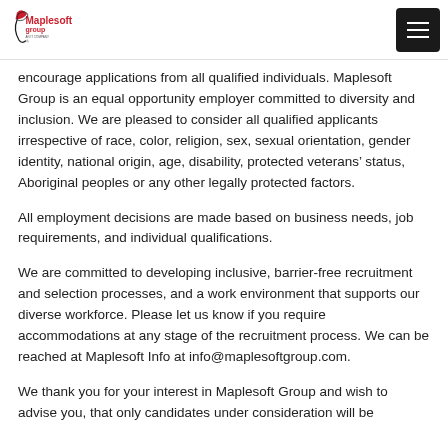Maplesoft group logo and navigation menu
encourage applications from all qualified individuals. Maplesoft Group is an equal opportunity employer committed to diversity and inclusion. We are pleased to consider all qualified applicants irrespective of race, color, religion, sex, sexual orientation, gender identity, national origin, age, disability, protected veterans’ status, Aboriginal peoples or any other legally protected factors.
All employment decisions are made based on business needs, job requirements, and individual qualifications.
We are committed to developing inclusive, barrier-free recruitment and selection processes, and a work environment that supports our diverse workforce. Please let us know if you require accommodations at any stage of the recruitment process. We can be reached at Maplesoft Info at info@maplesoftgroup.com.
We thank you for your interest in Maplesoft Group and wish to advise you, that only candidates under consideration will be